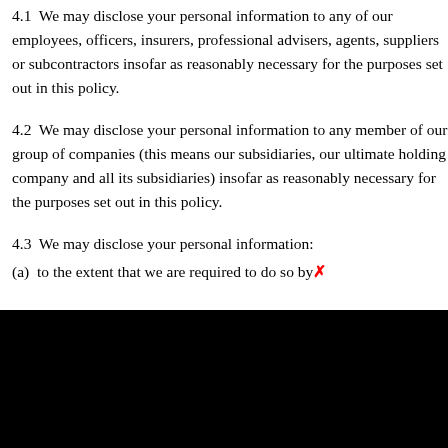4.1  We may disclose your personal information to any of our employees, officers, insurers, professional advisers, agents, suppliers or subcontractors insofar as reasonably necessary for the purposes set out in this policy.
4.2  We may disclose your personal information to any member of our group of companies (this means our subsidiaries, our ultimate holding company and all its subsidiaries) insofar as reasonably necessary for the purposes set out in this policy.
4.3  We may disclose your personal information:
(a)  to the extent that we are required to do so by